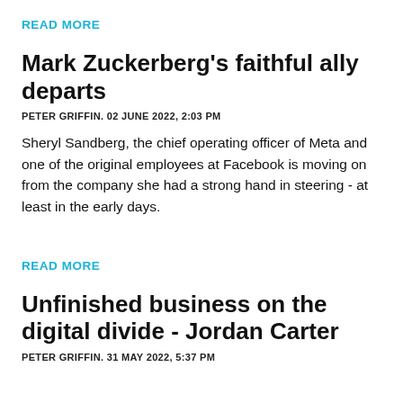READ MORE
Mark Zuckerberg's faithful ally departs
PETER GRIFFIN. 02 JUNE 2022, 2:03 PM
Sheryl Sandberg, the chief operating officer of Meta and one of the original employees at Facebook is moving on from the company she had a strong hand in steering - at least in the early days.
READ MORE
Unfinished business on the digital divide - Jordan Carter
PETER GRIFFIN. 31 MAY 2022, 5:37 PM